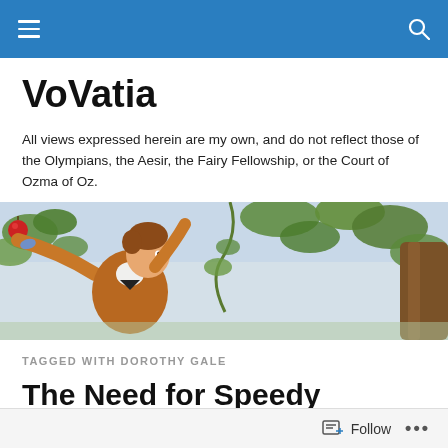VoVatia — navigation bar with hamburger menu and search icon
VoVatia
All views expressed herein are my own, and do not reflect those of the Olympians, the Aesir, the Fairy Fellowship, or the Court of Ozma of Oz.
[Figure (illustration): Colorful vintage illustration of a young boy in a brown jacket reaching up with one hand holding a red apple, surrounded by green tree branches, with a large tree trunk on the right side.]
TAGGED WITH DOROTHY GALE
The Need for Speedy
Follow ...